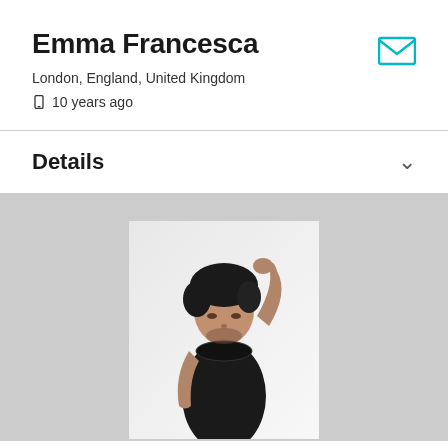Emma Francesca
London, England, United Kingdom
10 years ago
Details
[Figure (photo): Black and white portrait photo of a young man with curly hair, wearing a black t-shirt, hand on head, looking downward, against a white background]